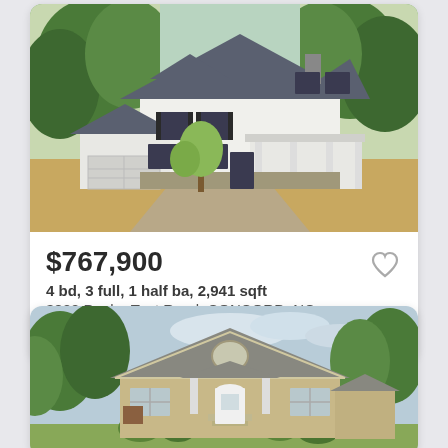[Figure (photo): Two-story white craftsman house with dark shutters, covered porch, attached garage, surrounded by trees]
$767,900
4 bd, 3 full, 1 half ba, 2,941 sqft
3822 Poplar Tent Road, CONCORD, NC
Courtesy of Niblock Development C...
[Figure (photo): Single-story tan/beige ranch house with covered front porch, surrounded by trees and shrubs]